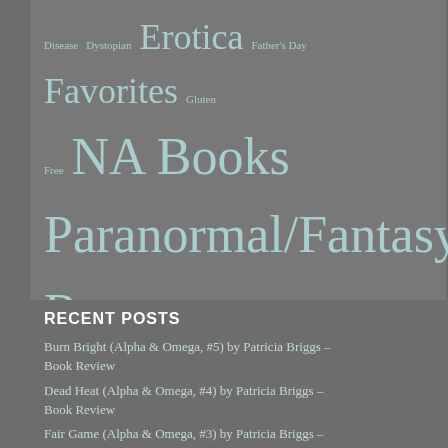Disease Dystopian Erotica Father's Day Favorites Gluten Free NA Books Paranormal/Fantasy Romance Running Strong Heroines Survey Throwback Thursday Tuesday Talk Whole30 Writing Writing Prompt YA Books Yard Work
RECENT POSTS
Burn Bright (Alpha & Omega, #5) by Patricia Briggs – Book Review
Dead Heat (Alpha & Omega, #4) by Patricia Briggs – Book Review
Fair Game (Alpha & Omega, #3) by Patricia Briggs – Book Review
Hunting Ground (Alpha & Omega, #2) by Patricia Briggs – Book Review